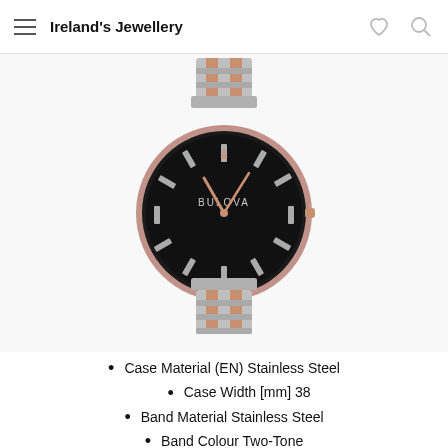Ireland's Jewellery
[Figure (photo): Bulova watch with two-tone stainless steel bracelet, black dial with rose gold bezel and hands, BULOVA text on dial]
Case Material (EN) Stainless Steel
Case Width [mm] 38
Band Material Stainless Steel
Band Colour Two-Tone